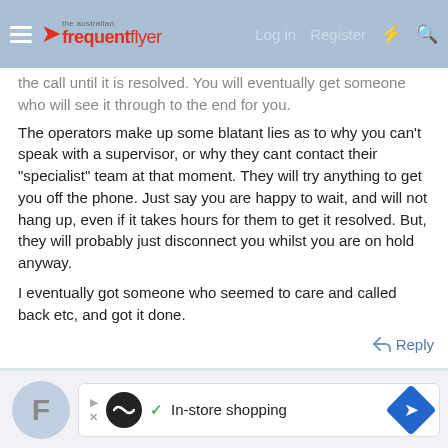The Australian Frequent Flyer — Log in  Register
the call until it is resolved. You will eventually get someone who will see it through to the end for you.
The operators make up some blatant lies as to why you can't speak with a supervisor, or why they cant contact their "specialist" team at that moment. They will try anything to get you off the phone. Just say you are happy to wait, and will not hang up, even if it takes hours for them to get it resolved. But, they will probably just disconnect you whilst you are on hold anyway.
I eventually got someone who seemed to care and called back etc, and got it done.
[Figure (screenshot): Reply button with arrow icon]
[Figure (screenshot): Bottom section with avatar F and in-store shopping advertisement banner]